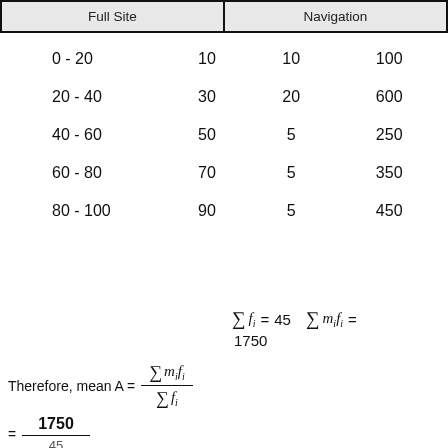Full Site | Navigation
|  |  |  |  |
| --- | --- | --- | --- |
| 0 - 20 | 10 | 10 | 100 |
| 20 - 40 | 30 | 20 | 600 |
| 40 - 60 | 50 | 5 | 250 |
| 60 - 80 | 70 | 5 | 350 |
| 80 - 100 | 90 | 5 | 450 |